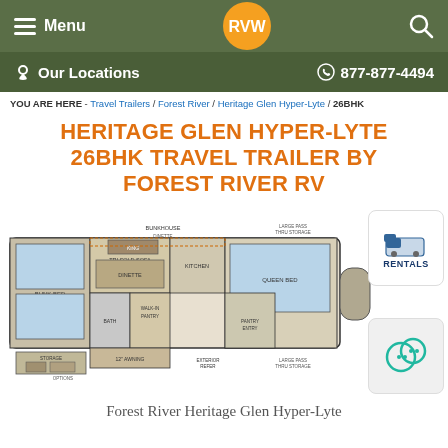Menu | RVW Logo | Search
Our Locations | 877-877-4494
YOU ARE HERE - Travel Trailers / Forest River / Heritage Glen Hyper-Lyte / 26BHK
HERITAGE GLEN HYPER-LYTE 26BHK TRAVEL TRAILER BY FOREST RIVER RV
[Figure (schematic): Floor plan diagram of the Heritage Glen Hyper-Lyte 26BHK travel trailer showing room layout including bunk bed, dinette, kitchen, bathroom, bedroom, and storage areas. A RENTALS badge and chat bubble icon are overlaid on the right side.]
Forest River Heritage Glen Hyper-Lyte